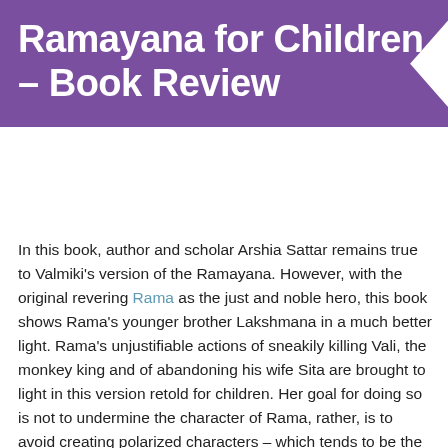Ramayana for Children – Book Review
In this book, author and scholar Arshia Sattar remains true to Valmiki's version of the Ramayana. However, with the original revering Rama as the just and noble hero, this book shows Rama's younger brother Lakshmana in a much better light. Rama's unjustifiable actions of sneakily killing Vali, the monkey king and of abandoning his wife Sita are brought to light in this version retold for children. Her goal for doing so is not to undermine the character of Rama, rather, is to avoid creating polarized characters – which tends to be the case with traditional tellings of the Ramayana.
Sattar's wonderful narrative style brings to life stories which can